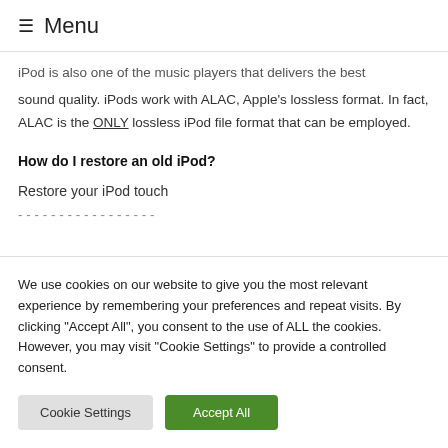☰ Menu
iPod is also one of the music players that delivers the best sound quality. iPods work with ALAC, Apple's lossless format. In fact, ALAC is the ONLY lossless iPod file format that can be employed.
How do I restore an old iPod?
Restore your iPod touch
[partially visible clipped text]
We use cookies on our website to give you the most relevant experience by remembering your preferences and repeat visits. By clicking "Accept All", you consent to the use of ALL the cookies. However, you may visit "Cookie Settings" to provide a controlled consent.
Cookie Settings | Accept All